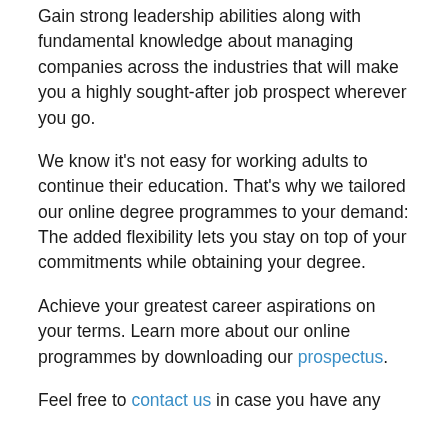Gain strong leadership abilities along with fundamental knowledge about managing companies across the industries that will make you a highly sought-after job prospect wherever you go.
We know it's not easy for working adults to continue their education. That's why we tailored our online degree programmes to your demand: The added flexibility lets you stay on top of your commitments while obtaining your degree.
Achieve your greatest career aspirations on your terms. Learn more about our online programmes by downloading our prospectus.
Feel free to contact us in case you have any